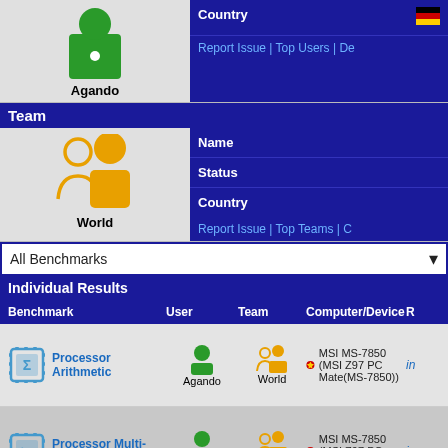[Figure (illustration): Green person/user icon for Agando]
Agando
| Country |
| --- |
| Country |
Report Issue | Top Users | De
Team
[Figure (illustration): Gold/yellow team icon for World]
World
| Name | Status | Country |
| --- | --- | --- |
| Name | Wo... |
| Status | Ac... |
| Country |  |
Report Issue | Top Teams | C
All Benchmarks
Individual Results
| Benchmark | User | Team | Computer/Device | R |
| --- | --- | --- | --- | --- |
| Processor Arithmetic | Agando | World | MSI MS-7850 (MSI Z97 PC Mate(MS-7850)) | in |
| Processor Multi-Media | Agando | World | MSI MS-7850 (MSI Z97 PC Mate(MS-7850)) | in |
|  |  |  | MSI MS-... |  |